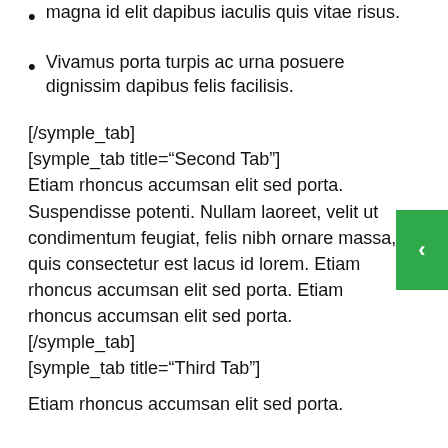Phasellus venenatis scelerisque facilisis. Sed et magna id elit dapibus iaculis quis vitae risus.
Vivamus porta turpis ac urna posuere dignissim dapibus felis facilisis.
[/symple_tab]
[symple_tab title="Second Tab"]
Etiam rhoncus accumsan elit sed porta. Suspendisse potenti. Nullam laoreet, velit ut condimentum feugiat, felis nibh ornare massa, quis consectetur est lacus id lorem. Etiam rhoncus accumsan elit sed porta. Etiam rhoncus accumsan elit sed porta.
[/symple_tab]
[symple_tab title="Third Tab"]
Etiam rhoncus accumsan elit sed porta.